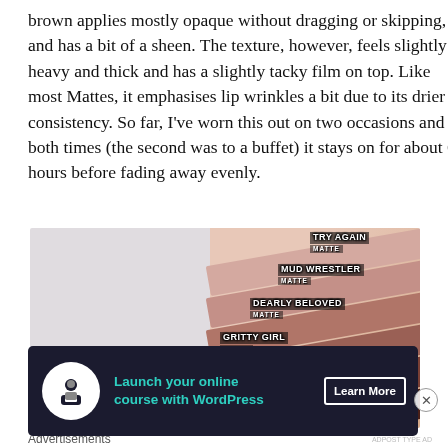brown applies mostly opaque without dragging or skipping, and has a bit of a sheen. The texture, however, feels slightly heavy and thick and has a slightly tacky film on top. Like most Mattes, it emphasises lip wrinkles a bit due to its drier consistency. So far, I've worn this out on two occasions and both times (the second was to a buffet) it stays on for about 6 hours before fading away evenly.
[Figure (photo): Lip product swatches on a hand/arm showing six shades labeled: TRY AGAIN (MATTE), MUD WRESTLER (MATTE), DEARLY BELOVED (MATTE), GRITTY GIRL (MATTE), SECRET # (MATTE), COLD HARD CASH (MATTE). Swatches shown diagonally from lighter to darker on skin.]
Advertisements
[Figure (screenshot): Advertisement banner with dark background: icon of a person at a computer, text 'Launch your online course with WordPress', and a 'Learn More' button.]